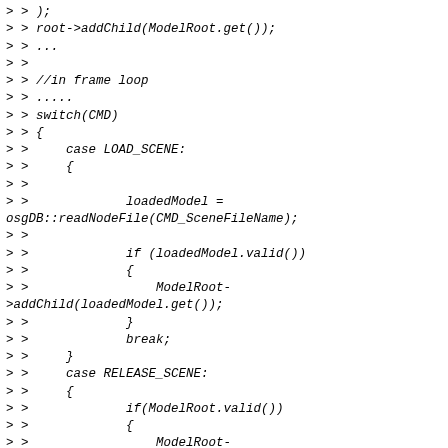> > );
> > root->addChild(ModelRoot.get());
> > ...
> >
> > //in frame loop
> > .....
> > switch(CMD)
> > {
> >     case LOAD_SCENE:
> >     {
> >
> >             loadedModel =
osgDB::readNodeFile(CMD_SceneFileName);
> >
> >             if (loadedModel.valid())
> >             {
> >                 ModelRoot->addChild(loadedModel.get());
> >             }
> >             break;
> >     }
> >     case RELEASE_SCENE:
> >     {
> >             if(ModelRoot.valid())
> >             {
> >                 ModelRoot->removeChildren(0,ModelRoot->getNumChildren());
> >             }
> >
> >             loadedModel.release();